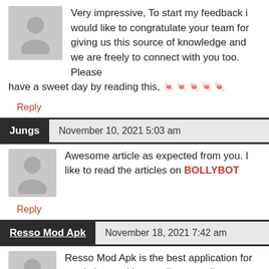Very impressive, To start my feedback i would like to congratulate your team for giving us this source of knowledge and we are freely to connect with you too. Please have a sweet day by reading this, 🍬🍬🍬🍬🍬
Reply
Jungs   November 10, 2021 5:03 am
Awesome article as expected from you. I like to read the articles on BOLLYBOT
Reply
Resso Mod Apk   November 18, 2021 7:42 am
Resso Mod Apk is the best application for music lovers. You can listen to all your